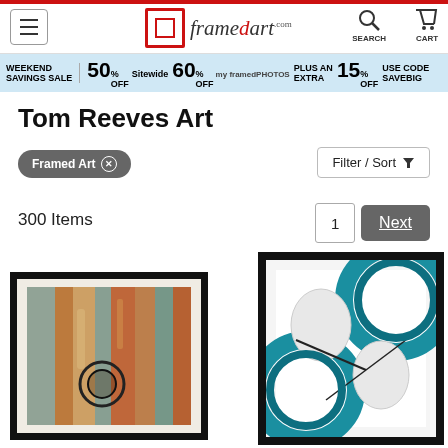framedart.com — navigation header with menu, logo, search, cart
[Figure (screenshot): Weekend Savings Sale banner: 50% OFF Sitewide, 60% OFF myFramedPhotos, Plus An Extra 15% OFF USE CODE SAVEBIG]
Tom Reeves Art
Framed Art ⊗
Filter / Sort
300 Items
1  Next
[Figure (photo): Framed abstract art print with warm earthy tones — oranges, browns, teals with circular motifs]
[Figure (photo): Framed abstract art print with teal and white circular/ring shapes on white background]